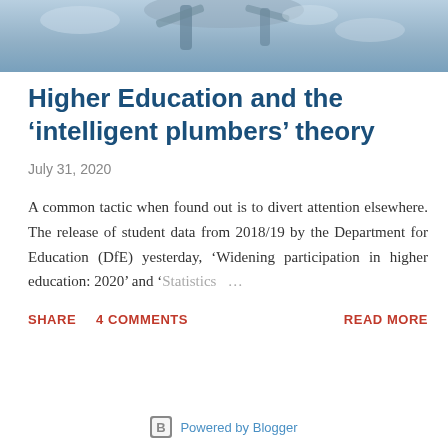[Figure (photo): Hero image of a stone or metal sculpture figure holding something, photographed against a blue sky background]
Higher Education and the ‘intelligent plumbers’ theory
July 31, 2020
A common tactic when found out is to divert attention elsewhere. The release of student data from 2018/19 by the Department for Education (DfE) yesterday, ‘Widening participation in higher education: 2020’ and ‘Statistics…
SHARE   4 COMMENTS   READ MORE
Powered by Blogger